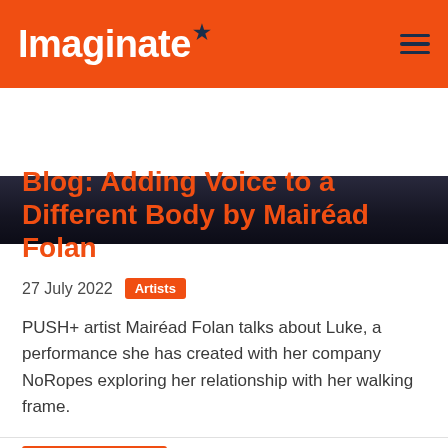Imaginate
[Figure (photo): Dark theatrical scene with figures on stage]
Blog: Adding Voice to a Different Body by Mairéad Folan
27 July 2022  Artists
PUSH+ artist Mairéad Folan talks about Luke, a performance she has created with her company NoRopes exploring her relationship with her walking frame.
Read more